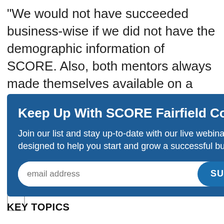"We would not have succeeded business-wise if we did not have the demographic information of SCORE. Also, both mentors always made themselves available on a weekly basis and provided countless hours of consulting time! I lost count of the hours I met with
Keep Up With SCORE Fairfield County
Join our list and stay up-to-date with our live webinars designed to help you start and grow a successful business.
email address
SUBMIT
ne A eer >
KEY TOPICS